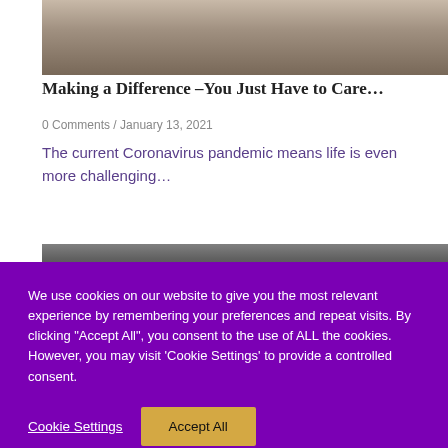[Figure (photo): Partial photo of a person sitting on a tiled floor, feet visible, colorful fabric on right side]
Making a Difference –You Just Have to Care…
0 Comments / January 13, 2021
The current Coronavirus pandemic means life is even more challenging…
[Figure (photo): Partial photo, dark background, appears to show an animal or person]
We use cookies on our website to give you the most relevant experience by remembering your preferences and repeat visits. By clicking "Accept All", you consent to the use of ALL the cookies. However, you may visit 'Cookie Settings' to provide a controlled consent.
Cookie Settings | Accept All